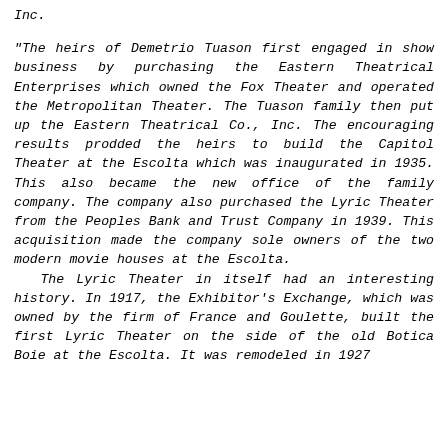Inc.
"The heirs of Demetrio Tuason first engaged in show business by purchasing the Eastern Theatrical Enterprises which owned the Fox Theater and operated the Metropolitan Theater. The Tuason family then put up the Eastern Theatrical Co., Inc. The encouraging results prodded the heirs to build the Capitol Theater at the Escolta which was inaugurated in 1935. This also became the new office of the family company. The company also purchased the Lyric Theater from the Peoples Bank and Trust Company in 1939. This acquisition made the company sole owners of the two modern movie houses at the Escolta.
   The Lyric Theater in itself had an interesting history. In 1917, the Exhibitor's Exchange, which was owned by the firm of France and Goulette, built the first Lyric Theater on the side of the old Botica Boie at the Escolta. It was remodeled in 1927